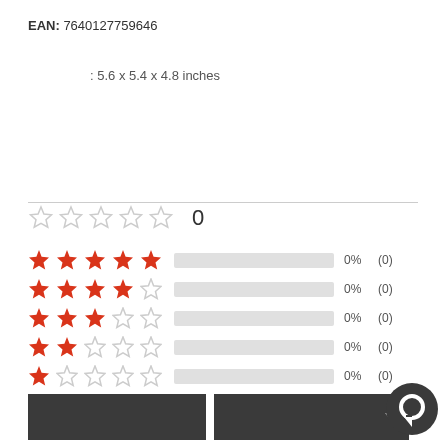EAN: 7640127759646
: 5.6 x 5.4 x 4.8 inches
[Figure (infographic): Rating section showing 5 empty stars and a count of 0, followed by a breakdown of 5-star to 1-star ratings each showing 0% and (0) with empty grey progress bars.]
[Figure (other): Two dark buttons at bottom, and a dark chat bubble icon at bottom right.]